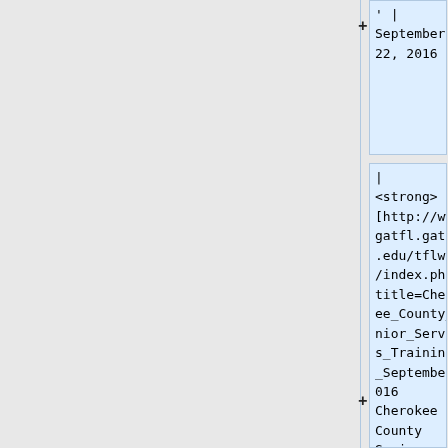' | September 22, 2016
| <strong>[http://www.gatfl.gatech.edu/tflwiki/index.php?title=Cherokee_County_Senior_Services_Training_-_September_2016 Cherokee County Senior Services Training]</strong> || Rachel